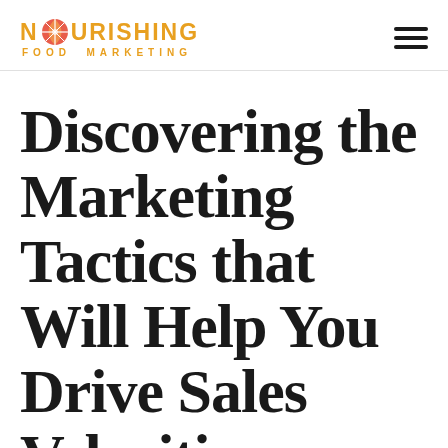NOURISHING FOOD MARKETING
Discovering the Marketing Tactics that Will Help You Drive Sales Velocities